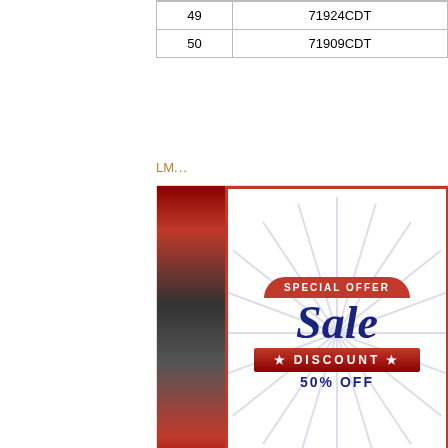| # | Model |
| --- | --- |
| 49 | 71924CDT |
| 50 | 71909CDT |
LM...
[Figure (infographic): Special Offer Sale Discount 50% OFF promotional banner with red and navy colors, and a Contact Us speech bubble in blue and red]
FAG 30208A+T3DB040 Bearing